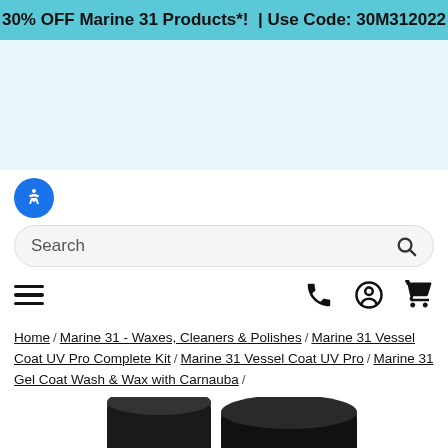30% OFF Marine 31 Products*!  | Use Code: 30M312022
[Figure (screenshot): Light blue/white hero area placeholder region]
[Figure (screenshot): Accessibility icon (blue circle with person icon), search bar with 'Search' placeholder and magnifying glass icon, hamburger menu, phone, user, and cart icons]
Home / Marine 31 - Waxes, Cleaners & Polishes / Marine 31 Vessel Coat UV Pro Complete Kit / Marine 31 Vessel Coat UV Pro / Marine 31 Gel Coat Wash & Wax with Carnauba /
[Figure (photo): Product bottles with dark caps partially visible at the bottom of the page]